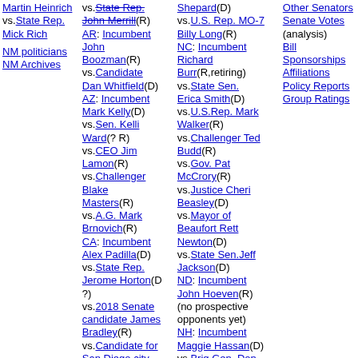Martin Heinrich vs. State Rep. Mick Rich
NM politicians
NM Archives
AR: Incumbent John Boozman(R) vs.Candidate Dan Whitfield(D)
AZ: Incumbent Mark Kelly(D) vs.Sen. Kelli Ward(? R) vs.CEO Jim Lamon(R) vs.Challenger Blake Masters(R) vs.A.G. Mark Brnovich(R)
CA: Incumbent Alex Padilla(D) vs.State Rep. Jerome Horton(D ?) vs.2018 Senate candidate James Bradley(R) vs.Candidate for San Diego city council 2020 Lily Zhou(R)
CO: Incumbent
Shepard(D) vs.U.S. Rep. MO-7 Billy Long(R)
NC: Incumbent Richard Burr(R,retiring) vs.State Sen. Erica Smith(D) vs.U.S.Rep. Mark Walker(R) vs.Challenger Ted Budd(R) vs.Gov. Pat McCrory(R) vs.Justice Cheri Beasley(D) vs.Mayor of Beaufort Rett Newton(D) vs.State Sen.Jeff Jackson(D)
ND: Incumbent John Hoeven(R) (no prospective opponents yet)
NH: Incumbent Maggie Hassan(D) vs.Brig.Gen. Don Bolduc(R) vs.Gov. Chris Sununu(R,?)
Other Senators Senate Votes (analysis)
Bill Sponsorships
Affiliations
Policy Reports
Group Ratings